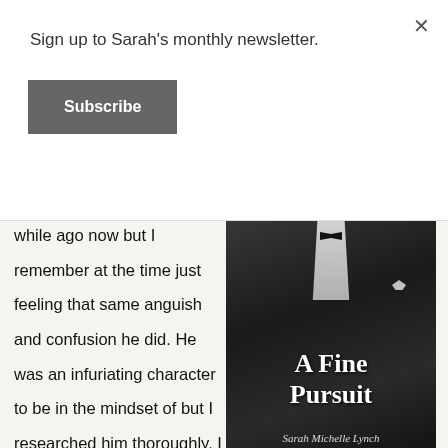Sign up to Sarah's monthly newsletter.
Subscribe
while ago now but I remember at the time just feeling that same anguish and confusion he did. He was an infuriating character to be in the mindset of but I researched him thoroughly. I always knew he wouldn't necessarily be a likeable character, but he's a real character. He's not a classic dom. I didn't write his story…
[Figure (photo): Book cover of 'A Fine Pursuit' by Sarah Michelle Lynch — black and white photo of a man in a tuxedo with bow tie, hands in pockets, face partially cropped. Title text 'A Fine Pursuit' and author name 'Sarah Michelle Lynch' overlaid in white serif font.]